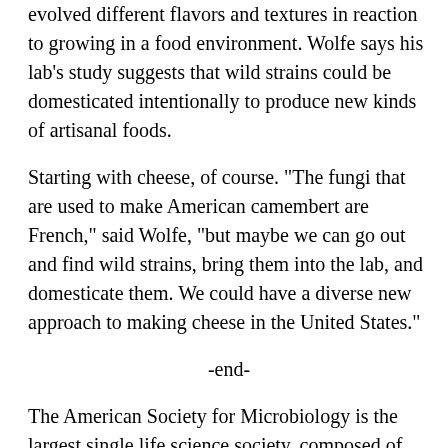evolved different flavors and textures in reaction to growing in a food environment. Wolfe says his lab's study suggests that wild strains could be domesticated intentionally to produce new kinds of artisanal foods.
Starting with cheese, of course. "The fungi that are used to make American camembert are French," said Wolfe, "but maybe we can go out and find wild strains, bring them into the lab, and domesticate them. We could have a diverse new approach to making cheese in the United States."
-end-
The American Society for Microbiology is the largest single life science society, composed of more than 30,000 scientists and health professionals. ASM's mission is to promote and advance the microbial sciences.
ASM advances the microbial sciences through conferences, publications, certifications and educational opportunities. It